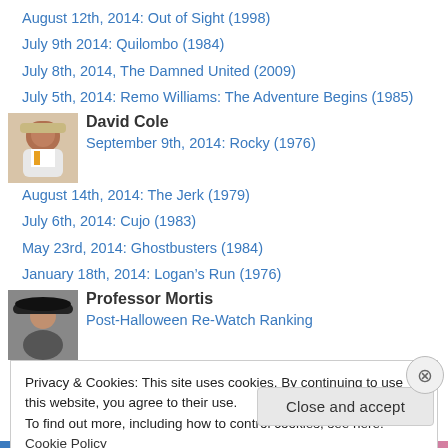August 12th, 2014: Out of Sight (1998)
July 9th 2014: Quilombo (1984)
July 8th, 2014, The Damned United (2009)
July 5th, 2014: Remo Williams: The Adventure Begins (1985)
[Figure (photo): Avatar photo of David Cole, man in suit with orange tie]
David Cole
September 9th, 2014: Rocky (1976)
August 14th, 2014: The Jerk (1979)
July 6th, 2014: Cujo (1983)
May 23rd, 2014: Ghostbusters (1984)
January 18th, 2014: Logan’s Run (1976)
[Figure (photo): Avatar photo of Professor Mortis, person in hat]
Professor Mortis
Post-Halloween Re-Watch Ranking
Slasherthon Revisited: Pre-Slasherthon Ranking of the
Privacy & Cookies: This site uses cookies. By continuing to use this website, you agree to their use.
To find out more, including how to control cookies, see here: Cookie Policy
Close and accept